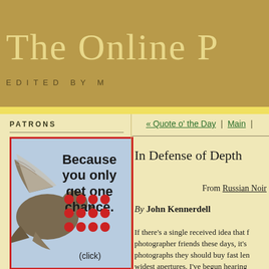The Online P[hotographer] EDITED BY M[...]
PATRONS
[Figure (photo): Advertisement banner featuring a bird (grouse/pheasant) in flight with text 'Because you only get one chance.' and red dot grid pattern, with '(click)' below]
« Quote o' the Day | Main |
In Defense of Depth
From Russian Noir
By John Kennerdell
If there's a single received idea that f[...] photographer friends these days, it's [...] photographs they should buy fast len[...] widest apertures. I've begun hearing[...]